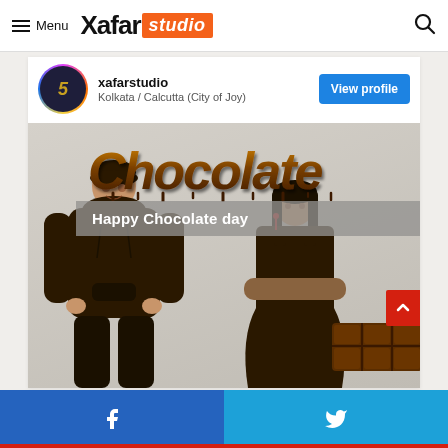Menu | Xafar studio
xafarstudio
Kolkata / Calcutta (City of Joy)
View profile
[Figure (photo): Social media post showing 'Chocolate' text in brown dripping font at top, 'Happy Chocolate day' banner, two young people (boy in brown hoodie, girl in brown dress) with a chocolate bar in the lower right corner.]
Facebook share | Twitter share